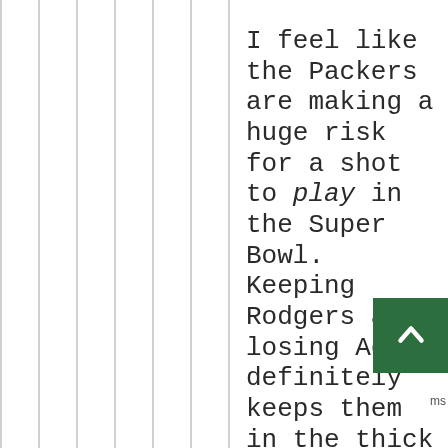I feel like the Packers are making a huge risk for a shot to play in the Super Bowl. Keeping Rodgers and losing Adams definitely keeps them in the thick of things